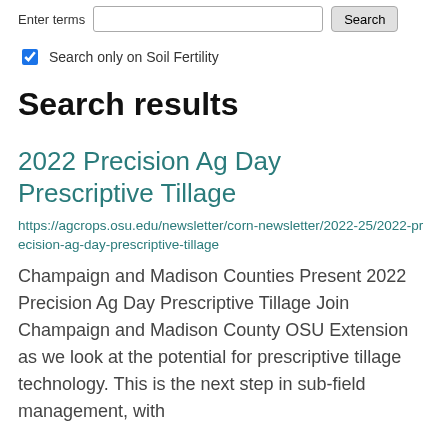Enter terms [text input] Search
Search only on Soil Fertility
Search results
2022 Precision Ag Day Prescriptive Tillage
https://agcrops.osu.edu/newsletter/corn-newsletter/2022-25/2022-precision-ag-day-prescriptive-tillage
Champaign and Madison Counties Present 2022 Precision Ag Day Prescriptive Tillage Join Champaign and Madison County OSU Extension as we look at the potential for prescriptive tillage technology. This is the next step in sub-field management, with